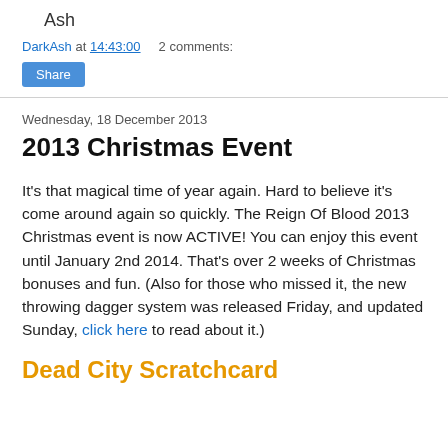Ash
DarkAsh at 14:43:00    2 comments:
Share
Wednesday, 18 December 2013
2013 Christmas Event
It's that magical time of year again. Hard to believe it's come around again so quickly. The Reign Of Blood 2013 Christmas event is now ACTIVE! You can enjoy this event until January 2nd 2014. That's over 2 weeks of Christmas bonuses and fun. (Also for those who missed it, the new throwing dagger system was released Friday, and updated Sunday, click here to read about it.)
Dead City Scratchcard